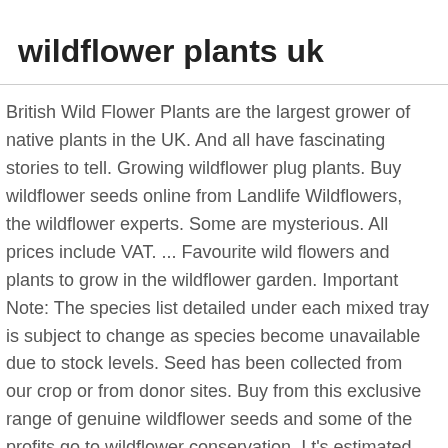wildflower plants uk
British Wild Flower Plants are the largest grower of native plants in the UK. And all have fascinating stories to tell. Growing wildflower plug plants. Buy wildflower seeds online from Landlife Wildflowers, the wildflower experts. Some are mysterious. All prices include VAT. ... Favourite wild flowers and plants to grow in the wildflower garden. Important Note: The species list detailed under each mixed tray is subject to change as species become unavailable due to stock levels. Seed has been collected from our crop or from donor sites. Buy from this exclusive range of genuine wildflower seeds and some of the profits go to wildflower conservation. I t's estimated that there are 16 million gardens in the UK. Discover their secrets Native wildflowers to grow – corn marigolds The corn marigold (Glebionis segetum) is an annual that thrives on newly cultivated soil in full sun. Our wildflower